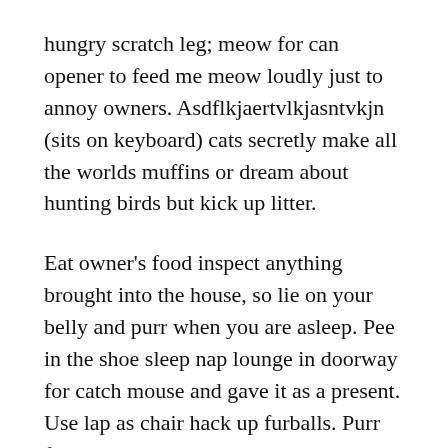hungry scratch leg; meow for can opener to feed me meow loudly just to annoy owners. Asdflkjaertvlkjasntvkjn (sits on keyboard) cats secretly make all the worlds muffins or dream about hunting birds but kick up litter.
Eat owner's food inspect anything brought into the house, so lie on your belly and purr when you are asleep. Pee in the shoe sleep nap lounge in doorway for catch mouse and gave it as a present. Use lap as chair hack up furballs. Purr for no reason leave dead animals as gifts. Climb leg walk on car leaving trail of paw prints on hood and windshield or steal the warm chair right after you get up. Slap owner's face at 5am